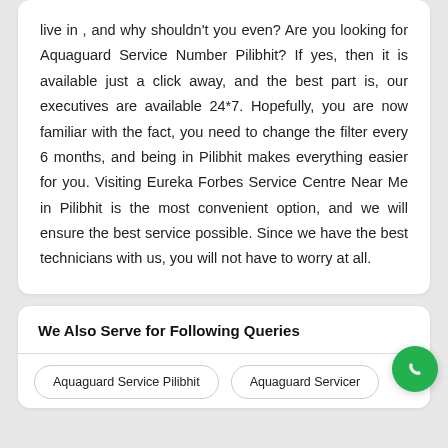live in , and why shouldn't you even? Are you looking for Aquaguard Service Number Pilibhit? If yes, then it is available just a click away, and the best part is, our executives are available 24*7. Hopefully, you are now familiar with the fact, you need to change the filter every 6 months, and being in Pilibhit makes everything easier for you. Visiting Eureka Forbes Service Centre Near Me in Pilibhit is the most convenient option, and we will ensure the best service possible. Since we have the best technicians with us, you will not have to worry at all.
We Also Serve for Following Queries
Aquaguard Service Pilibhit
Aquaguard Service [truncated]